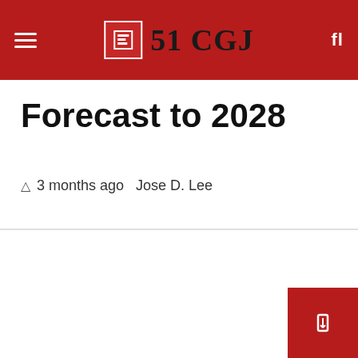51 CGJ  fl
Forecast to 2028
3 months ago  Jose D. Lee